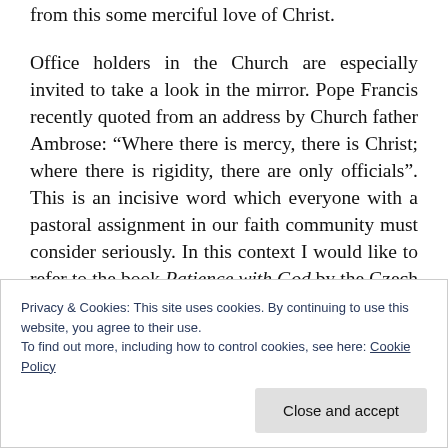from this some merciful love of Christ.
Office holders in the Church are especially invited to take a look in the mirror. Pope Francis recently quoted from an address by Church father Ambrose: “Where there is mercy, there is Christ; where there is rigidity, there are only officials”. This is an incisive word which everyone with a pastoral assignment in our faith community must consider seriously. In this context I would like to refer to the book Patience with God by the Czech priest Tomas Halik. A great number of people, within and
Privacy & Cookies: This site uses cookies. By continuing to use this website, you agree to their use.
To find out more, including how to control cookies, see here: Cookie Policy